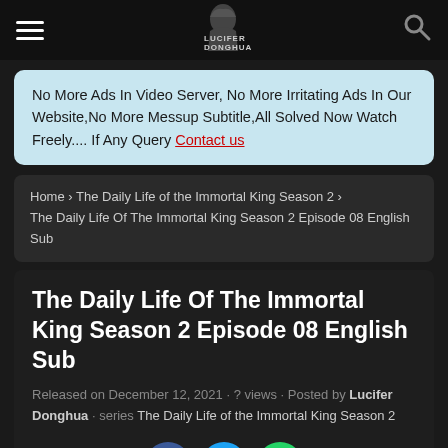Lucifer Donghua — navigation header with hamburger menu, logo, and search icon
No More Ads In Video Server, No More Irritating Ads In Our Website,No More Messup Subtitle,All Solved Now Watch Freely.... If Any Query Contact us
Home › The Daily Life of the Immortal King Season 2 › The Daily Life Of The Immortal King Season 2 Episode 08 English Sub
The Daily Life Of The Immortal King Season 2 Episode 08 English Sub
Released on December 12, 2021 · ? views · Posted by Lucifer Donghua · series The Daily Life of the Immortal King Season 2